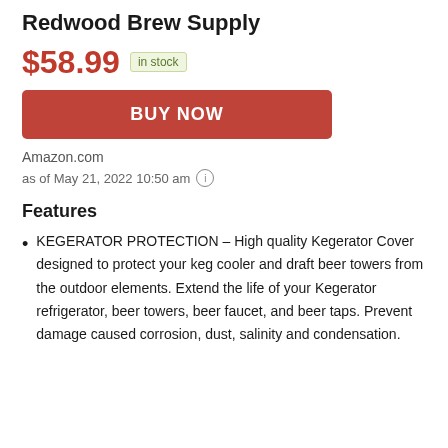Redwood Brew Supply
$58.99 in stock
BUY NOW
Amazon.com
as of May 21, 2022 10:50 am
Features
KEGERATOR PROTECTION – High quality Kegerator Cover designed to protect your keg cooler and draft beer towers from the outdoor elements. Extend the life of your Kegerator refrigerator, beer towers, beer faucet, and beer taps. Prevent damage caused corrosion, dust, salinity and condensation.